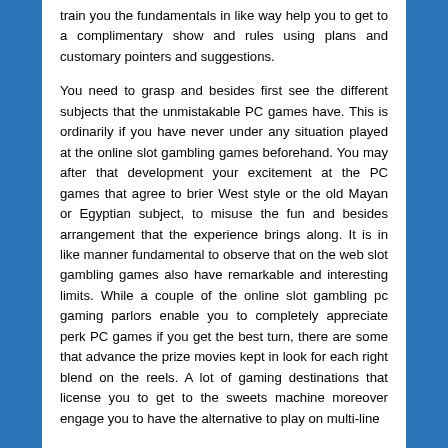train you the fundamentals in like way help you to get to a complimentary show and rules using plans and customary pointers and suggestions.
You need to grasp and besides first see the different subjects that the unmistakable PC games have. This is ordinarily if you have never under any situation played at the online slot gambling games beforehand. You may after that development your excitement at the PC games that agree to brier West style or the old Mayan or Egyptian subject, to misuse the fun and besides arrangement that the experience brings along. It is in like manner fundamental to observe that on the web slot gambling games also have remarkable and interesting limits. While a couple of the online slot gambling pc gaming parlors enable you to completely appreciate perk PC games if you get the best turn, there are some that advance the prize movies kept in look for each right blend on the reels. A lot of gaming destinations that license you to get to the sweets machine moreover engage you to have the alternative to play on multi-line